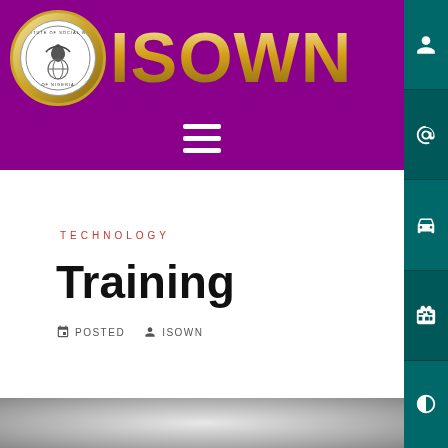[Figure (logo): ISOWN - Institute of Social Work of Nigeria logo with golden circular emblem on purple background with hamburger menu]
[Figure (screenshot): Right sidebar with teal/dark cyan navigation buttons: profile, email/at, car, archive/box, contrast icons]
TECHNOLOGY
Training
POSTED  ISOWN
[Figure (photo): Partial photo visible at bottom of page with gray/white tones]